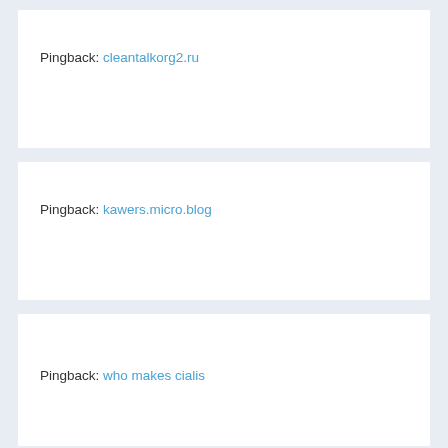Pingback: cleantalkorg2.ru
Pingback: kawers.micro.blog
Pingback: who makes cialis
Pingback: filmgoda.ru